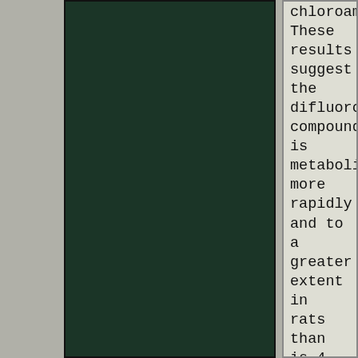[Figure (photo): Dark green/black panel occupying the left two-thirds of the page, likely a scientific image or figure background.]
chloroamphetamine. These results suggest the difluoro compound is metabolized more rapidly and to a greater extent in rats than is 4-chloroamphetamine. Higher doses of the difluoro compound were required to produce drug levels in brain equal to those of 4-chloroamphetamine and the levels of the difluoro compound fell more rapidly. There was less hyperthermia and central nervous system stimulation caused by the difluoro COflil)Oulld eveit on the basis of comparable drug levels in brain. β,β-Difluoro-4...